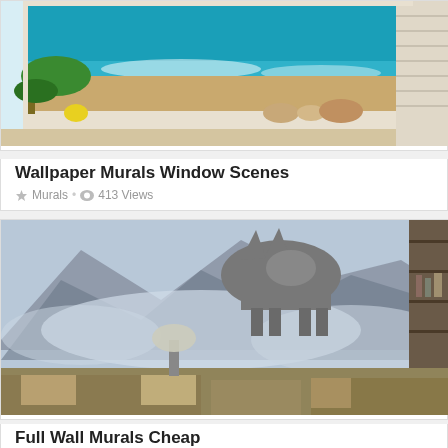[Figure (photo): A wallpaper mural depicting a beach scene viewed through a window, with ocean waves, sandy shore, a plant with lemons, shells on the windowsill, and window blinds on the right side.]
Wallpaper Murals Window Scenes
Murals • 413 Views
[Figure (photo): A full wall mural depicting a wolf standing on misty mountain peaks, with a living room interior visible in the foreground including sofas and a lamp.]
Full Wall Murals Cheap
Murals • 426 Views